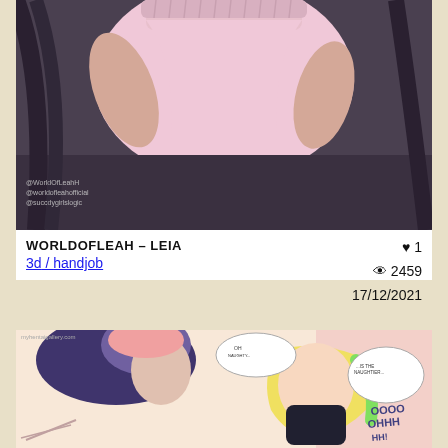[Figure (photo): Top card showing a person in a pink top and dark skirt, with social media watermarks in the lower left corner]
WORLDOFLEAH – LEIA
3d / handjob
♥ 1  👁 2459  17/12/2021
[Figure (illustration): Bottom card showing an anime/comic-style illustration with characters and speech bubbles]